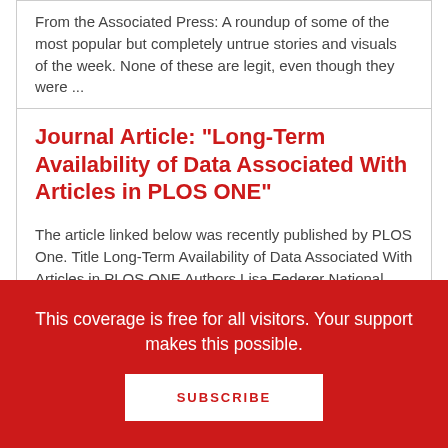From the Associated Press: A roundup of some of the most popular but completely untrue stories and visuals of the week. None of these are legit, even though they were ...
Journal Article: "Long-Term Availability of Data Associated With Articles in PLOS ONE"
The article linked below was recently published by PLOS One. Title Long-Term Availability of Data Associated With Articles in PLOS ONE Authors Lisa Federer National Institutes of Health Source PLoS ...
This coverage is free for all visitors. Your support makes this possible.